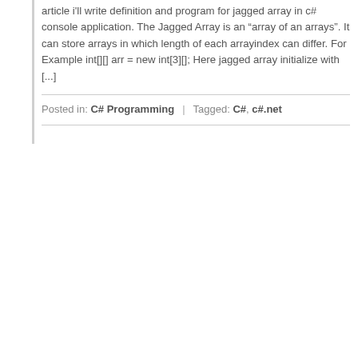article i'll write definition and program for jagged array in c# console application. The Jagged Array is an “array of an arrays”. It can store arrays in which length of each arrayindex can differ. For Example int[][] arr = new int[3][]; Here jagged array initialize with [...]
Posted in: C# Programming | Tagged: C#, c#.net